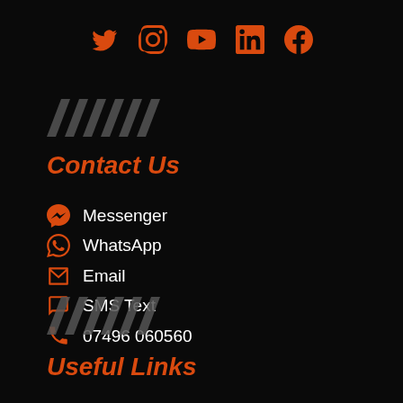[Figure (infographic): Social media icons row: Twitter, Instagram, YouTube, LinkedIn, Facebook — all in orange/red on black background]
[Figure (other): Decorative chevron/slash marks in grey]
Contact Us
Messenger
WhatsApp
Email
SMS Text
07496 060560
[Figure (other): Decorative chevron/slash marks in grey]
Useful Links